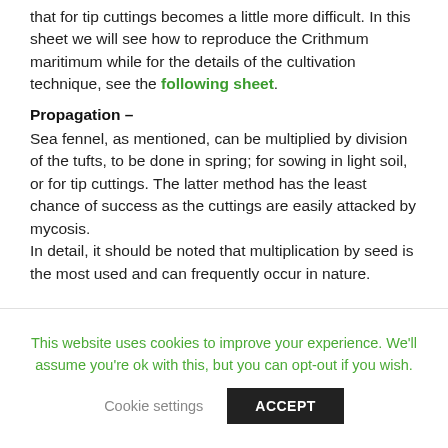that for tip cuttings becomes a little more difficult. In this sheet we will see how to reproduce the Crithmum maritimum while for the details of the cultivation technique, see the following sheet.
Propagation –
Sea fennel, as mentioned, can be multiplied by division of the tufts, to be done in spring; for sowing in light soil, or for tip cuttings. The latter method has the least chance of success as the cuttings are easily attacked by mycosis. In detail, it should be noted that multiplication by seed is the most used and can frequently occur in nature.
This website uses cookies to improve your experience. We'll assume you're ok with this, but you can opt-out if you wish. Cookie settings ACCEPT